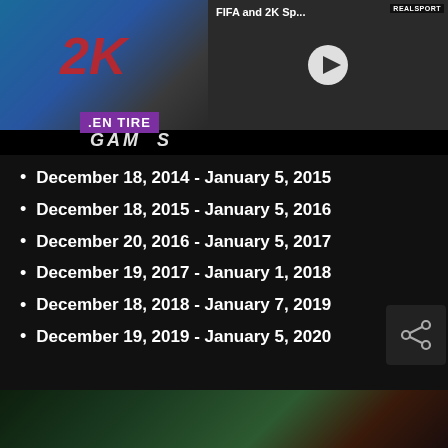[Figure (screenshot): Video thumbnail showing FIFA and 2K Sports game with 2K logo, EN TIRE banner, GAMES text, and a play button overlay. REALSPORT watermark in top right corner.]
December 18, 2014 - January 5, 2015
December 18, 2015 - January 5, 2016
December 20, 2016 - January 5, 2017
December 19, 2017 - January 1, 2018
December 18, 2018 - January 7, 2019
December 19, 2019 - January 5, 2020
[Figure (photo): Bottom partial image showing a person with a flag on a dark background.]